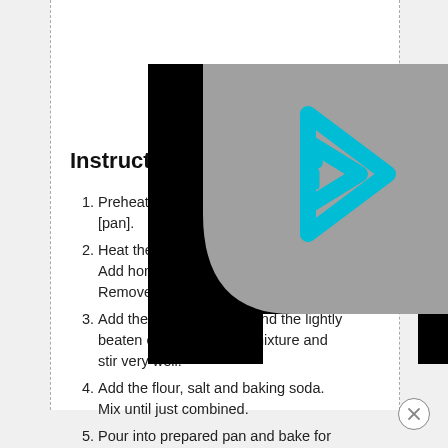Instructions
Preheat oven to [temp] and grease [pan].
Heat the [ingredients] on the stove. Add honey and stir until combined. Remove from heat.
Add the softened butter and the lightly beaten eggs to the milk mixture and stir very well.
Add the flour, salt and baking soda. Mix until just combined.
Pour into prepared pan and bake for about 40 - 45 minutes. If it looks like the top is getting too dark, reduce the oven temperature to 300 degrees. I've made this in a few different ovens and it definitely ranges in time and temperature.
[Figure (logo): Gray rectangle with cyan/blue rounded-corner play-button arrow logo with an 'i' icon inside, overlaid on black rectangles on left and right sides]